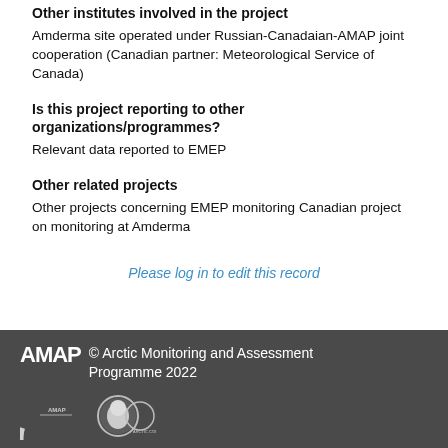Other institutes involved in the project
Amderma site operated under Russian-Canadaian-AMAP joint cooperation (Canadian partner: Meteorological Service of Canada)
Is this project reporting to other organizations/programmes?
Relevant data reported to EMEP
Other related projects
Other projects concerning EMEP monitoring Canadian project on monitoring at Amderma
Please log in to edit this record
AMAP © Arctic Monitoring and Assessment Programme 2022